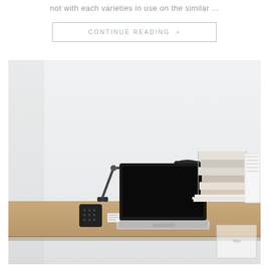not with each varieties in use on the similar ...
CONTINUE READING »
[Figure (photo): A wooden desk with a laptop computer, a small black desk lamp, a stack of books and magazines, a white document organizer/file holder, and a small black speaker. The background is a plain white wall. A small watermark/logo box appears in the lower right corner of the photo.]